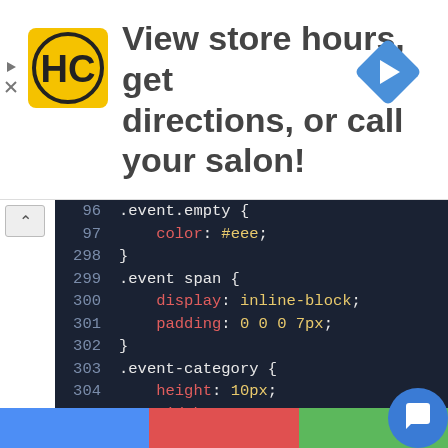[Figure (screenshot): Ad banner with HC salon logo and text 'View store hours, get directions, or call your salon!' with navigation arrow icon]
[Figure (screenshot): CSS code editor showing lines 96-314 with dark background, line numbers, and syntax-highlighted CSS for .event.empty, .event span, .event-category, and .legend selectors]
[Figure (infographic): Bottom color bar with blue, red, and green sections and a circular chat icon on the right]